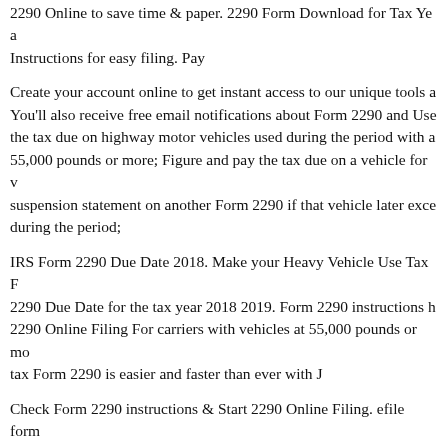2290 Online to save time & paper. 2290 Form Download for Tax Ye... Instructions for easy filing. Pay
Create your account online to get instant access to our unique tools a... You'll also receive free email notifications about Form 2290 and Use... the tax due on highway motor vehicles used during the period with a... 55,000 pounds or more; Figure and pay the tax due on a vehicle for v... suspension statement on another Form 2290 if that vehicle later exce... during the period;
IRS Form 2290 Due Date 2018. Make your Heavy Vehicle Use Tax F... 2290 Due Date for the tax year 2018 2019. Form 2290 instructions h... 2290 Online Filing For carriers with vehicles at 55,000 pounds or mo... tax Form 2290 is easier and faster than ever with J
Check Form 2290 instructions & Start 2290 Online Filing. efile form... Highway Vehicle Use Tax. Free IRS Tax Filing with Free Registratio... need to file their Form 2290 if they ready to IRS Tax e-file form 229... vehicles. Also, e-file Form 2290 in the case of exceeded mileage lim... efile also helps to change wrongly entered VIN numbers or wrongl...